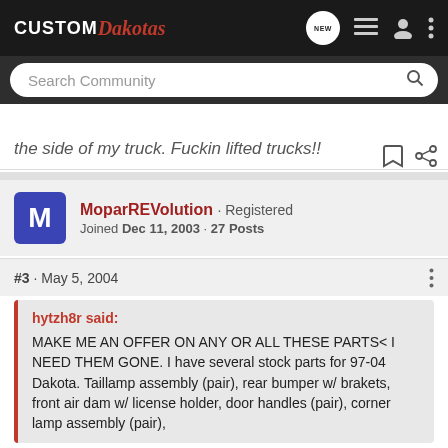CUSTOM Dakotas
Search Community
the side of my truck. Fuckin lifted trucks!!
MoparREVolution · Registered
Joined Dec 11, 2003 · 27 Posts
#3 · May 5, 2004
hytzh8r said:
MAKE ME AN OFFER ON ANY OR ALL THESE PARTS< I NEED THEM GONE. I have several stock parts for 97-04 Dakota. Taillamp assembly (pair), rear bumper w/ brakets, front air dam w/ license holder, door handles (pair), corner lamp assembly (pair),